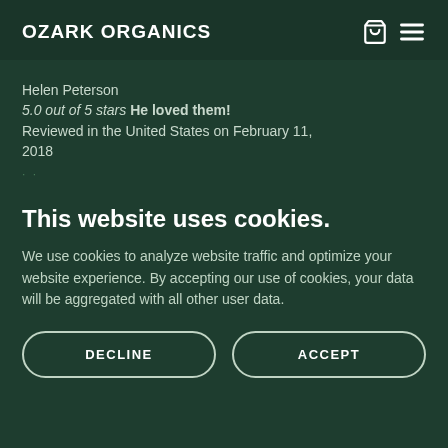OZARK ORGANICS
Helen Peterson
5.0 out of 5 stars He loved them!
Reviewed in the United States on February 11, 2018
This website uses cookies.
We use cookies to analyze website traffic and optimize your website experience. By accepting our use of cookies, your data will be aggregated with all other user data.
DECLINE
ACCEPT